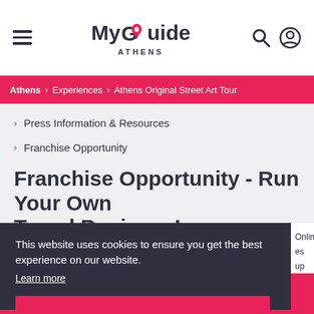MyGuide ATHENS
Athens > Experiences > Athens Original Street Art Tour
Press Information & Resources
Franchise Opportunity
Franchise Opportunity - Run Your Own Travel Business!
This website uses cookies to ensure you get the best experience on our website. Learn more
Got it!